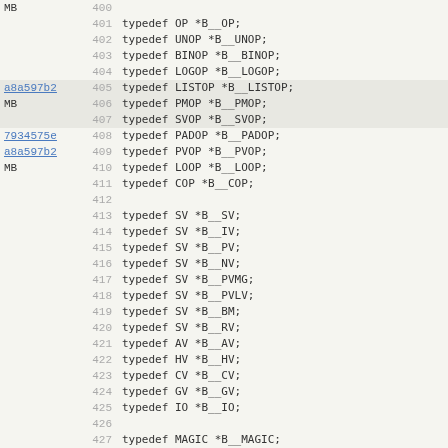Code listing lines 400-432 with typedef declarations and module settings
MB  400
401  typedef OP      *B__OP;
402  typedef UNOP    *B__UNOP;
403  typedef BINOP   *B__BINOP;
404  typedef LOGOP   *B__LOGOP;
a8a597b2  405  typedef LISTOP  *B__LISTOP;
MB  406  typedef PMOP    *B__PMOP;
407  typedef SVOP    *B__SVOP;
7934575e  408  typedef PADOP   *B__PADOP;
a8a597b2  409  typedef PVOP    *B__PVOP;
MB  410  typedef LOOP    *B__LOOP;
411  typedef COP     *B__COP;
412
413  typedef SV      *B__SV;
414  typedef SV      *B__IV;
415  typedef SV      *B__PV;
416  typedef SV      *B__NV;
417  typedef SV      *B__PVMG;
418  typedef SV      *B__PVLV;
419  typedef SV      *B__BM;
420  typedef SV      *B__RV;
421  typedef AV      *B__AV;
422  typedef HV      *B__HV;
423  typedef CV      *B__CV;
424  typedef GV      *B__GV;
425  typedef IO      *B__IO;
426
427  typedef MAGIC   *B__MAGIC;
428
429  MODULE = B      PACKAGE = B      PREFIX = B_
430
431  PROTOTYPES: DISABLE